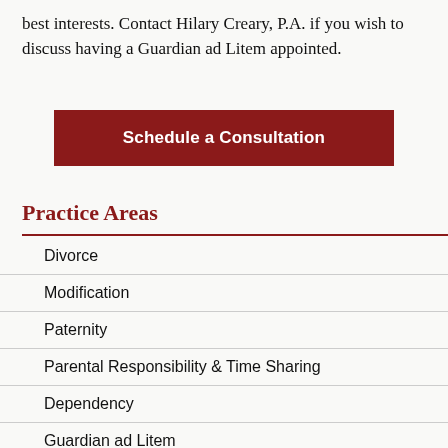best interests. Contact Hilary Creary, P.A. if you wish to discuss having a Guardian ad Litem appointed.
Schedule a Consultation
Practice Areas
Divorce
Modification
Paternity
Parental Responsibility & Time Sharing
Dependency
Guardian ad Litem
Domestic Violence